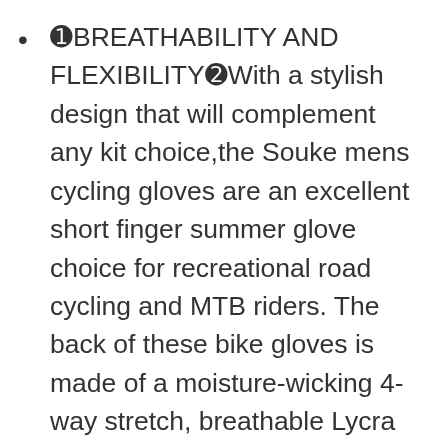❶BREATHABILITY AND FLEXIBILITY❷With a stylish design that will complement any kit choice,the Souke mens cycling gloves are an excellent short finger summer glove choice for recreational road cycling and MTB riders. The back of these bike gloves is made of a moisture-wicking 4-way stretch, breathable Lycra and mesh fabric that keeps your hands well ventilated and fresh. ★To prevent overheating, Souke has added venting holes to